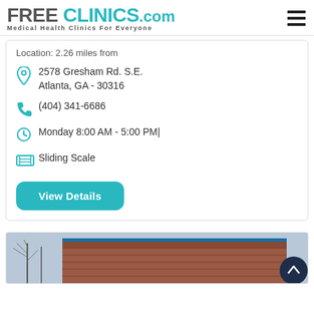FREE CLINICS.COM — Medical Health Clinics For Everyone
Location: 2.26 miles from
2578 Gresham Rd. S.E.
Atlanta, GA - 30316
(404) 341-6686
Monday 8:00 AM - 5:00 PM|
Sliding Scale
View Details
[Figure (photo): Exterior photo of a brick clinic building with trees visible in the foreground and blue trim near the roofline.]